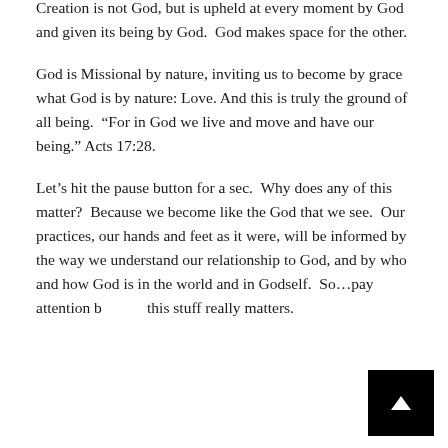Creation is not God, but is upheld at every moment by God and given its being by God.  God makes space for the other.
God is Missional by nature, inviting us to become by grace what God is by nature: Love. And this is truly the ground of all being.  “For in God we live and move and have our being.” Acts 17:28.
Let’s hit the pause button for a sec.  Why does any of this matter?  Because we become like the God that we see.  Our practices, our hands and feet as it were, will be informed by the way we understand our relationship to God, and by who and how God is in the world and in Godself.  So…pay attention b[ecause] this stuff really matters.